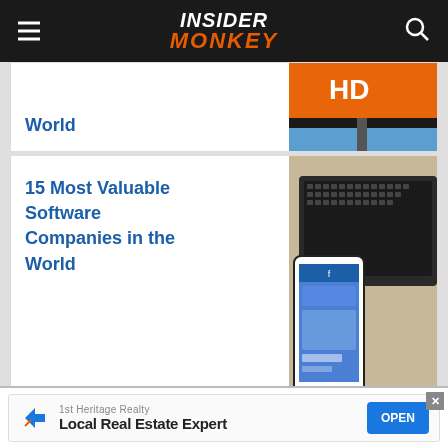Insider Monkey
[Figure (screenshot): Partially visible article card with orange/blue hardware store image]
World
[Figure (photo): Laptop and smartphone showing social media app, article: 15 Most Valuable Software Companies in the World]
15 Most Valuable Software Companies in the World
[Figure (photo): Delivery person with green bag, article: 15 Most Valuable Platform]
15 Most Valuable Platform
[Figure (screenshot): Advertisement: 1st Heritage Realty - Local Real Estate Expert - OPEN button]